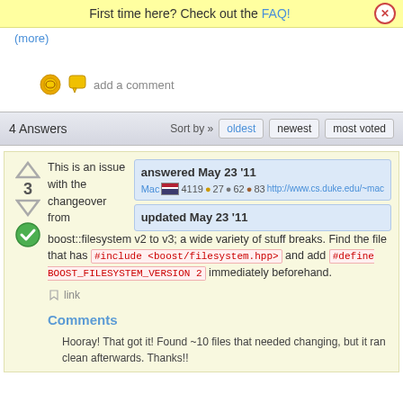First time here? Check out the FAQ!
(more)
add a comment
4 Answers
Sort by » oldest newest most voted
This is an issue with the changeover from boost::filesystem v2 to v3; a wide variety of stuff breaks. Find the file that has #include <boost/filesystem.hpp> and add #define BOOST_FILESYSTEM_VERSION 2 immediately beforehand.
answered May 23 '11 Mac 4119 •27 •62 •83 http://www.cs.duke.edu/~mac
updated May 23 '11
link
Comments
Hooray! That got it! Found ~10 files that needed changing, but it ran clean afterwards. Thanks!!